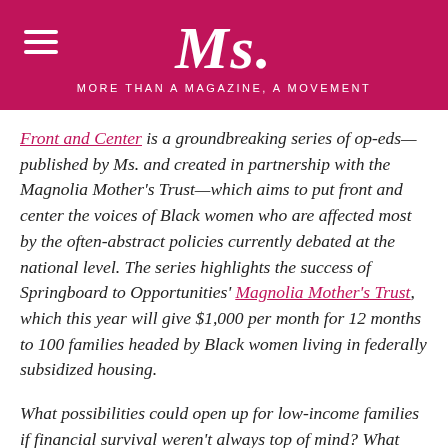Ms. — MORE THAN A MAGAZINE, A MOVEMENT
Front and Center is a groundbreaking series of op-eds—published by Ms. and created in partnership with the Magnolia Mother's Trust—which aims to put front and center the voices of Black women who are affected most by the often-abstract policies currently debated at the national level. The series highlights the success of Springboard to Opportunities' Magnolia Mother's Trust, which this year will give $1,000 per month for 12 months to 100 families headed by Black women living in federally subsidized housing.
What possibilities could open up for low-income families if financial survival weren't always top of mind? What dreams would these mothers and families be able